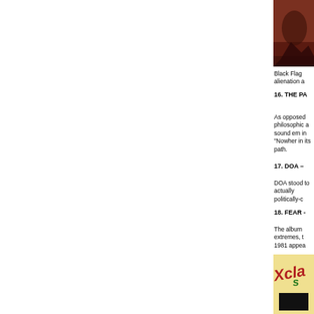[Figure (photo): Top portion of an album cover showing reddish-brown tones, partially cropped]
Black Flag alienation a
16. THE PA
As opposed philosophic a sound em in "Nowher in its path.
17. DOA –
DOA stood to actually politically-c
18. FEAR -
The album extremes, t 1981 appea
[Figure (photo): Bottom portion showing album cover with colorful logo text 'Xcla...' in red/green on yellow background with black rectangle]